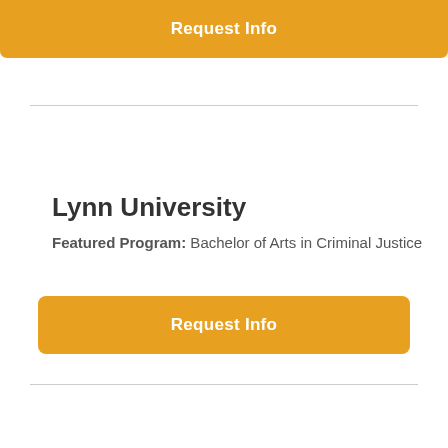[Figure (other): Orange 'Request Info' button at the top of the page]
Lynn University
Featured Program: Bachelor of Arts in Criminal Justice
[Figure (other): Orange 'Request Info' button below the university info]